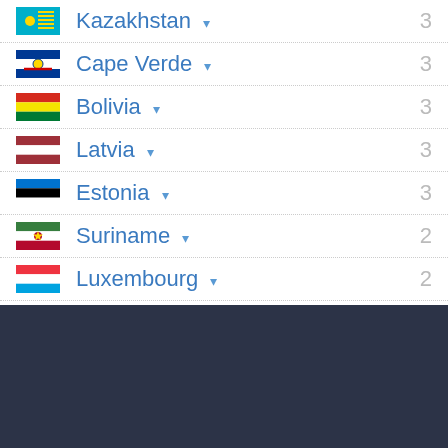Kazakhstan 3
Cape Verde 3
Bolivia 3
Latvia 3
Estonia 3
Suriname 2
Luxembourg 2
.977 Today's Hits
[Figure (screenshot): Media player controls: heart, skip back, play, skip forward, volume]